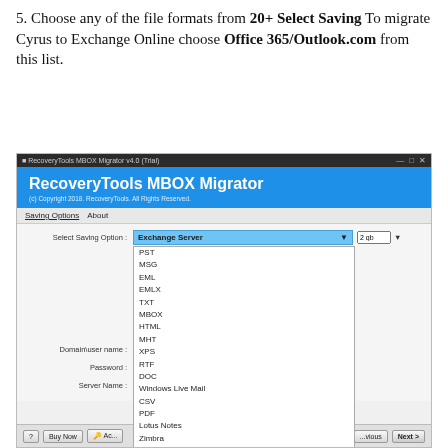5. Choose any of the file formats from 20+ Select Saving To migrate Cyrus to Exchange Online choose Office 365/Outlook.com from this list.
[Figure (screenshot): Screenshot of RecoveryTools MBOX Migrator v4.0 (Trial) application showing a dropdown list of saving options with 'Exchange Server' highlighted in blue. The dropdown includes: PST, MSG, EML, EMLX, TXT, MBOX, HTML, MHT, XPS, RTF, DOC, Windows Live Mail, CSV, PDF, Lotus Notes, Zimbra, Maildir, Thunderbird, МойОфис Почта (MyOffice Mail), Entourage (RGE), Outlook for Mac (OLM), Office 365, Outlook.com, Exchange Server (selected), Gmail, G Suite, Yahoo, IBM Verse, Amazon Workmail, IMAP.]